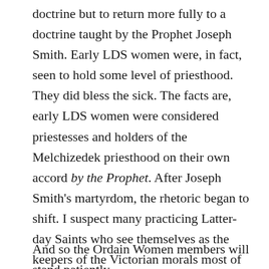doctrine but to return more fully to a doctrine taught by the Prophet Joseph Smith. Early LDS women were, in fact, seen to hold some level of priesthood. They did bless the sick. The facts are, early LDS women were considered priestesses and holders of the Melchizedek priesthood on their own accord by the Prophet. After Joseph Smith's martyrdom, the rhetoric began to shift. I suspect many practicing Latter-day Saints who see themselves as the keepers of the Victorian morals most of the western world has rejected need the occasional nudge to remember just how radical Mormonism is. In an era when no woman held any form of priesthood, Joseph Smith was, again, a revolutionary.
And so the Ordain Women members will stand patiently